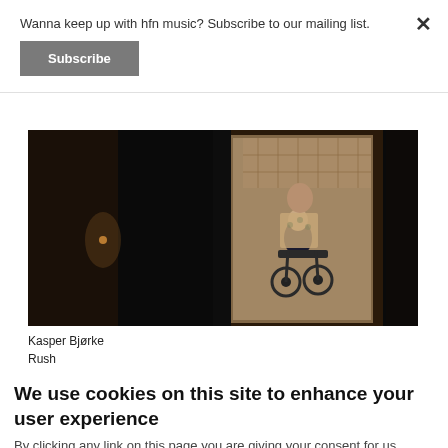Wanna keep up with hfn music? Subscribe to our mailing list.
Subscribe
[Figure (photo): A dark scene showing a woman in a patterned top pushing a person in a wheelchair through a dimly lit doorway or hallway.]
Kasper Bjørke
Rush
We use cookies on this site to enhance your user experience
By clicking any link on this page you are giving your consent for us